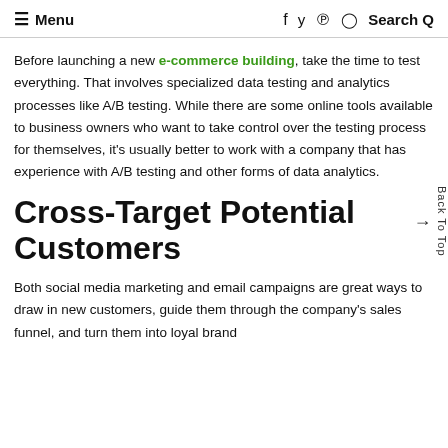≡ Menu   f  y  p  ◎  Search Q
Before launching a new e-commerce building, take the time to test everything. That involves specialized data testing and analytics processes like A/B testing. While there are some online tools available to business owners who want to take control over the testing process for themselves, it's usually better to work with a company that has experience with A/B testing and other forms of data analytics.
Cross-Target Potential Customers
Both social media marketing and email campaigns are great ways to draw in new customers, guide them through the company's sales funnel, and turn them into loyal brand